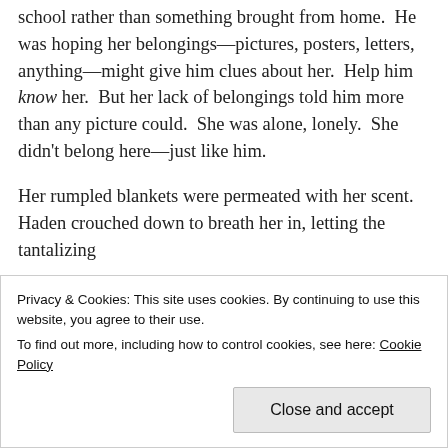school rather than something brought from home.  He was hoping her belongings—pictures, posters, letters, anything—might give him clues about her.  Help him know her.  But her lack of belongings told him more than any picture could.  She was alone, lonely.  She didn't belong here—just like him.
Her rumpled blankets were permeated with her scent.  Haden crouched down to breath her in, letting the tantalizing
Privacy & Cookies: This site uses cookies. By continuing to use this website, you agree to their use.
To find out more, including how to control cookies, see here: Cookie Policy
Close and accept